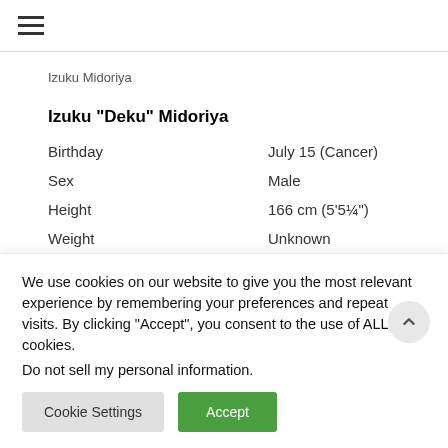≡
Izuku Midoriya
Izuku "Deku" Midoriya
| Attribute | Value |
| --- | --- |
| Birthday | July 15 (Cancer) |
| Sex | Male |
| Height | 166 cm (5'5¼") |
| Weight | Unknown |
How old is Anna The Promised Neverland?
We use cookies on our website to give you the most relevant experience by remembering your preferences and repeat visits. By clicking "Accept", you consent to the use of ALL the cookies.
Do not sell my personal information.